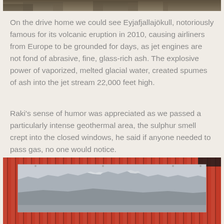[Figure (photo): Top strip of an outdoor nature photo showing dark vegetation and ground, cropped at the top edge of the page]
On the drive home we could see Eyjafjallajökull, notoriously famous for its volcanic eruption in 2010, causing airliners from Europe to be grounded for days, as jet engines are not fond of abrasive, fine, glass-rich ash. The explosive power of vaporized, melted glacial water, created spumes of ash into the jet stream 22,000 feet high.
Raki's sense of humor was appreciated as we passed a particularly intense geothermal area, the sulphur smell crept into the closed windows, he said if anyone needed to pass gas, no one would notice.
[Figure (photo): A white informational poster or sign mounted on a red corrugated metal wall, showing a panoramic photograph of a mountain range (Eyjafjallajökull area) with grey skies]